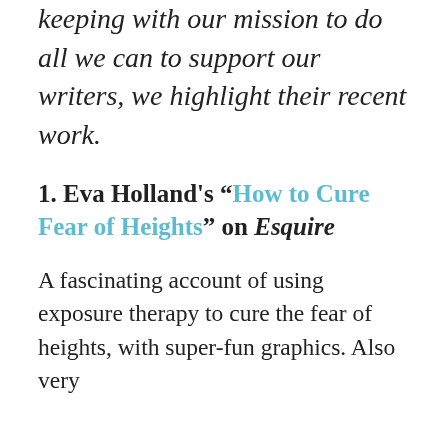keeping with our mission to do all we can to support our writers, we highlight their recent work.
1. Eva Holland's “How to Cure Fear of Heights” on Esquire
A fascinating account of using exposure therapy to cure the fear of heights, with super-fun graphics. Also very